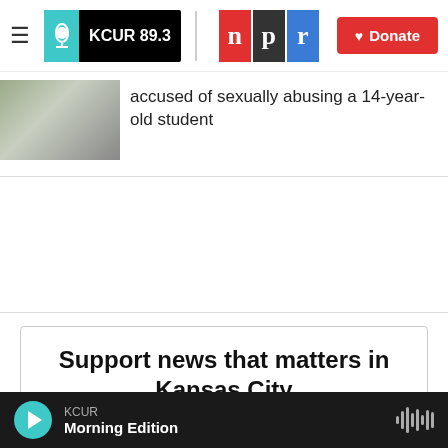[Figure (screenshot): KCUR 89.3 and NPR navigation header with Donate button]
accused of sexually abusing a 14-year-old student
[Figure (photo): Thumbnail image of a building exterior]
Support news that matters in Kansas City
KCUR serves the Kansas City region with breaking news and powerful storytelling. Your donation helps make non-profit journalism
KCUR   Morning Edition